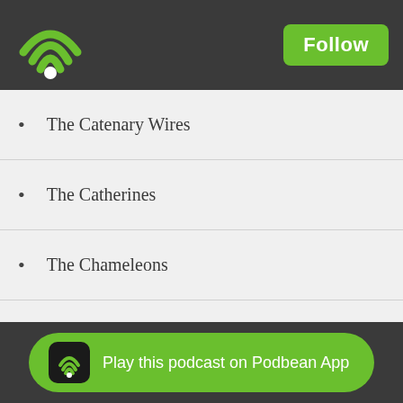Podbean podcast app header with WiFi logo and Follow button
The Catenary Wires
The Catherines
The Chameleons
The Chills
The Claim
The Dandy Warhols
The Darling Buds
The Fall
The Farm
The Fe[...]
Play this podcast on Podbean App